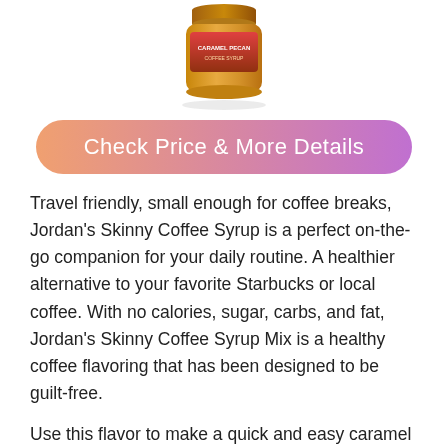[Figure (photo): Product photo of Jordan's Skinny Coffee Syrup jar, partially cropped at top of page]
Check Price & More Details
Travel friendly, small enough for coffee breaks, Jordan's Skinny Coffee Syrup is a perfect on-the-go companion for your daily routine. A healthier alternative to your favorite Starbucks or local coffee. With no calories, sugar, carbs, and fat, Jordan's Skinny Coffee Syrup Mix is a healthy coffee flavoring that has been designed to be guilt-free.
Use this flavor to make a quick and easy caramel